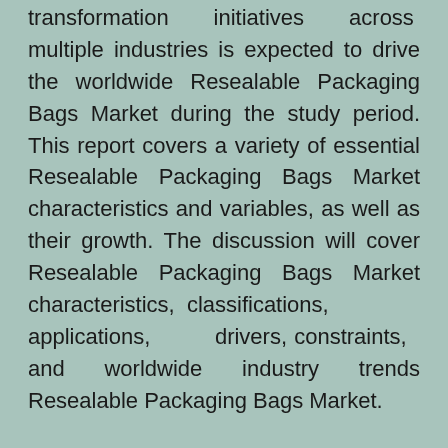transformation initiatives across multiple industries is expected to drive the worldwide Resealable Packaging Bags Market during the study period. This report covers a variety of essential Resealable Packaging Bags Market characteristics and variables, as well as their growth. The discussion will cover Resealable Packaging Bags Market characteristics, classifications, applications, drivers, constraints, and worldwide industry trends Resealable Packaging Bags Market.
The global Resealable Packaging Bags Market size is estimated to be USD xx billion in 2021